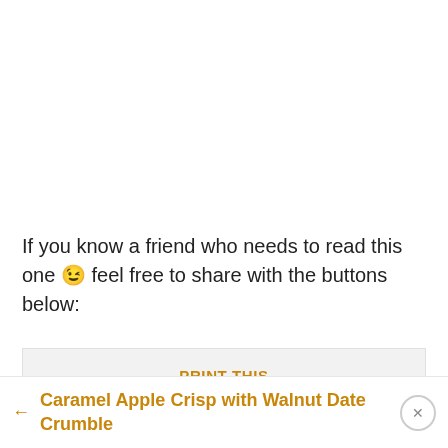If you know a friend who needs to read this one 😉 feel free to share with the buttons below:
PRINT THIS
Previous article
← Caramel Apple Crisp with Walnut Date Crumble